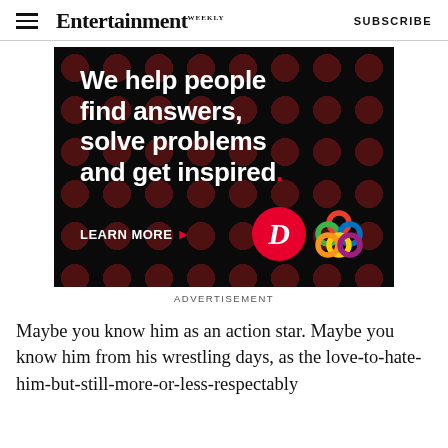Entertainment Weekly  SUBSCRIBE
[Figure (illustration): Advertisement banner with dark background and red dot pattern. Text reads: 'We help people find answers, solve problems and get inspired.' with a red period. Below: 'LEARN MORE ▶' and logos for Dotdash and another colorful brand.]
ADVERTISEMENT
Maybe you know him as an action star. Maybe you know him from his wrestling days, as the love-to-hate-him-but-still-more-or-less-respectably...